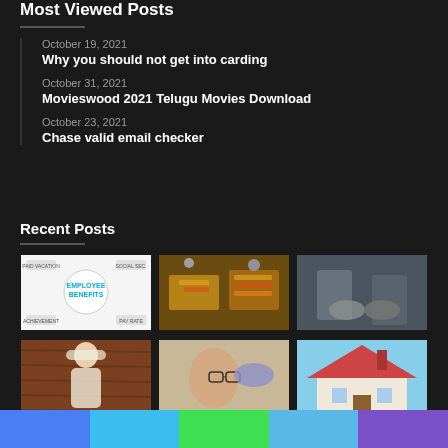Most Viewed Posts
October 19, 2021
Why you should not get into carding
October 31, 2021
Movieswood 2021 Telugu Movies Download
October 23, 2021
Chase valid email checker
Recent Posts
[Figure (photo): Employee Benefits diagram]
[Figure (photo): Food catering trays]
[Figure (photo): Handshake or hands close-up]
[Figure (photo): Woman with towel on head]
[Figure (photo): Doctor examining patient]
[Figure (photo): House with red tile roof]